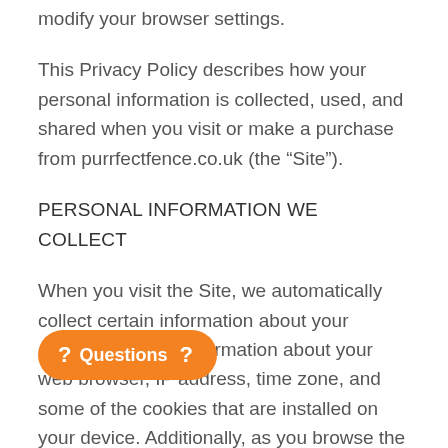modify your browser settings.
This Privacy Policy describes how your personal information is collected, used, and shared when you visit or make a purchase from purrfectfence.co.uk (the “Site”).
PERSONAL INFORMATION WE COLLECT
When you visit the Site, we automatically collect certain information about your device, including information about your web browser, IP address, time zone, and some of the cookies that are installed on your device. Additionally, as you browse the Site, we collect information about the individual web pages or products that you view, what websites or search terms referred you to the Site, and information about